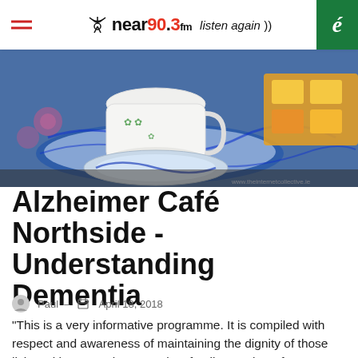near90.3fm listen again
[Figure (photo): Close-up photograph of a white china tea cup with green shamrock decorations on a blue and white floral saucer, with food items visible in the background. Website watermark visible in bottom right corner.]
Alzheimer Café Northside - Understanding Dementia
Paul – April 18, 2018
"This is a very informative programme. It is compiled with respect and awareness of maintaining the dignity of those living with Dementia." – Denise, family member of a person living with Dementia Produced by Ignacio Irigoien